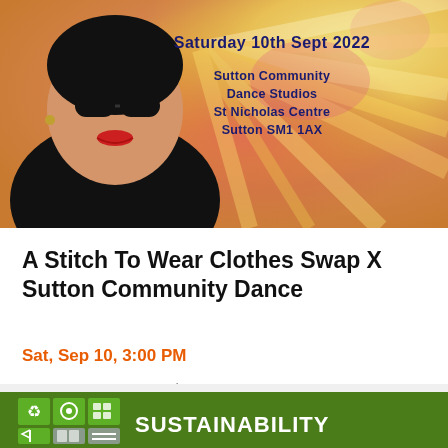[Figure (illustration): Colorful event flyer image showing an illustrated figure of a woman in black top with red lips, against a tie-dye style colorful background. Text overlay reads 'Saturday 10th Sept 2022' and venue details: 'Sutton Community Dance Studios, St Nicholas Centre, Sutton SM1 1AX']
A Stitch To Wear Clothes Swap X Sutton Community Dance
Sat, Sep 10, 3:00 PM
SCD - Sutton Community Dance • Sutton
£6.50
[Figure (illustration): Green sustainability-themed banner with small icon grid (recycling, SDG-style icons) on the left and the word 'SUSTAINABILITY' in large white bold text on the right]